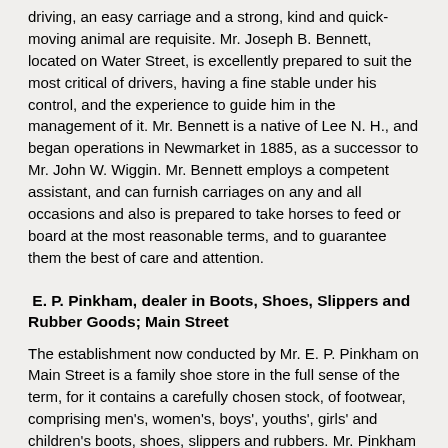driving, an easy carriage and a strong, kind and quick-moving animal are requisite. Mr. Joseph B. Bennett, located on Water Street, is excellently prepared to suit the most critical of drivers, having a fine stable under his control, and the experience to guide him in the management of it. Mr. Bennett is a native of Lee N. H., and began operations in Newmarket in 1885, as a successor to Mr. John W. Wiggin. Mr. Bennett employs a competent assistant, and can furnish carriages on any and all occasions and also is prepared to take horses to feed or board at the most reasonable terms, and to guarantee them the best of care and attention.
E. P. Pinkham, dealer in Boots, Shoes, Slippers and Rubber Goods; Main Street
The establishment now conducted by Mr. E. P. Pinkham on Main Street is a family shoe store in the full sense of the term, for it contains a carefully chosen stock, of footwear, comprising men's, women's, boys', youths', girls' and children's boots, shoes, slippers and rubbers. Mr. Pinkham is a native of Newmarket, and was clerk for the late John L. Boardman (his uncle) for several years. After his decease (July 2, 1887) he conducted the business for his aunt for about a year and a half, and then bought her out in January, 1889. In November, 1890, he bought out the stock of boots and shoes of Mr. Samuel Valliere of the same town, and has consolidated both stocks into one store, which gives him a